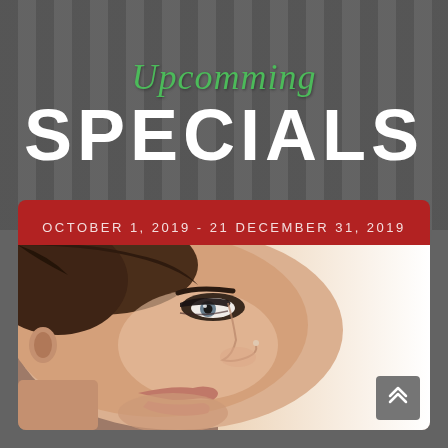Upcomming
SPECIALS
OCTOBER 1, 2019 - 21 DECEMBER 31, 2019
[Figure (photo): Profile side view of a woman's face showing clean skin, looking to the right, nose and eye visible, light background]
[Figure (other): Gray square button with double upward-pointing chevron arrows]